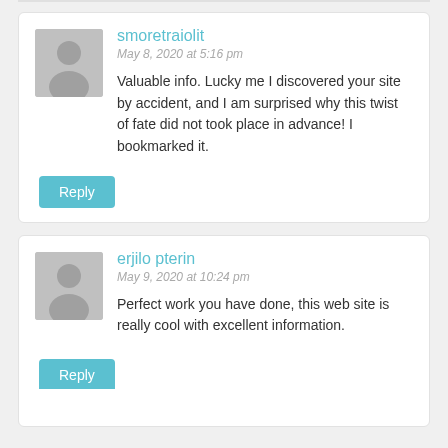smoretraiolit
May 8, 2020 at 5:16 pm
Valuable info. Lucky me I discovered your site by accident, and I am surprised why this twist of fate did not took place in advance! I bookmarked it.
Reply
erjilo pterin
May 9, 2020 at 10:24 pm
Perfect work you have done, this web site is really cool with excellent information.
Reply